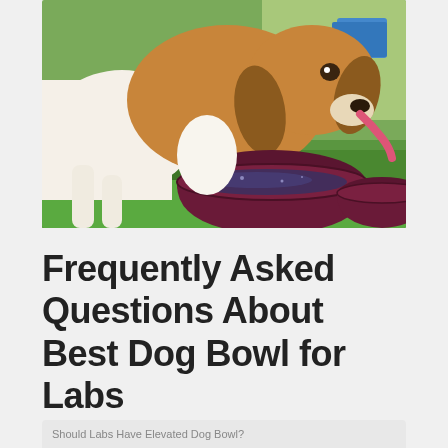[Figure (photo): A beagle dog drinking water from a dark red/maroon ceramic dog bowl on green grass outdoors. Another maroon bowl is visible to the right. The dog's tongue is lapping up the water.]
Frequently Asked Questions About Best Dog Bowl for Labs
Should Labs Have Elevated Dog Bowl?